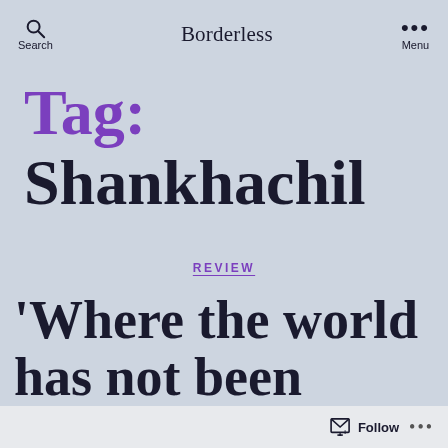Search   Borderless   Menu
Tag: Shankhachil
REVIEW
'Where the world has not been broken up